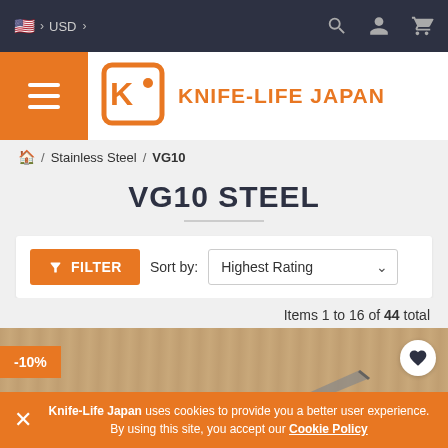🇺🇸 USD | Search | Account | Cart
[Figure (logo): Knife-Life Japan logo with KJ monogram in orange square bracket style icon and orange brand name text]
🏠 / Stainless Steel / VG10
VG10 STEEL
FILTER   Sort by: Highest Rating
Items 1 to 16 of 44 total
[Figure (photo): Product listing area showing -10% discount badge on orange label, wooden background, partial knife image, and heart/favorite icon]
Knife-Life Japan uses cookies to provide you a better user experience. By using this site, you accept our Cookie Policy